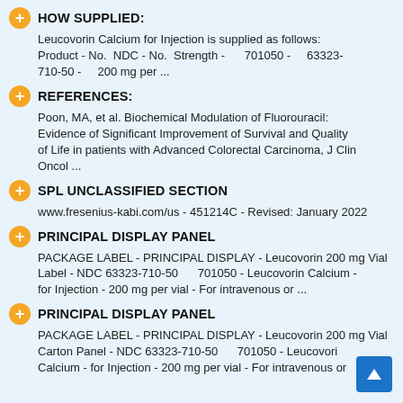HOW SUPPLIED:
Leucovorin Calcium for Injection is supplied as follows: Product - No.  NDC - No.  Strength -      701050 -    63323-710-50 -     200 mg per ...
REFERENCES:
Poon, MA, et al. Biochemical Modulation of Fluorouracil: Evidence of Significant Improvement of Survival and Quality of Life in patients with Advanced Colorectal Carcinoma, J Clin Oncol ...
SPL UNCLASSIFIED SECTION
www.fresenius-kabi.com/us - 451214C - Revised: January 2022
PRINCIPAL DISPLAY PANEL
PACKAGE LABEL - PRINCIPAL DISPLAY - Leucovorin 200 mg Vial Label - NDC 63323-710-50      701050 - Leucovorin Calcium - for Injection - 200 mg per vial - For intravenous or ...
PRINCIPAL DISPLAY PANEL
PACKAGE LABEL - PRINCIPAL DISPLAY - Leucovorin 200 mg Vial Carton Panel - NDC 63323-710-50      701050 - Leucovorin Calcium - for Injection - 200 mg per vial - For intravenous or ...